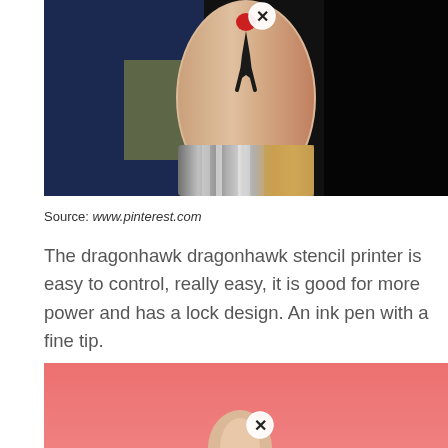[Figure (photo): Photo of a person's arm/wrist with a small tattoo of a red figure silhouette and a metallic/gold bracelet, against a dark background]
Source: www.pinterest.com
The dragonhawk dragonhawk stencil printer is easy to control, really easy, it is good for more power and has a lock design. An ink pen with a fine tip.
[Figure (photo): Photo with a coral/salmon pink background showing a hand/fingers visible at the bottom, partially cropped]